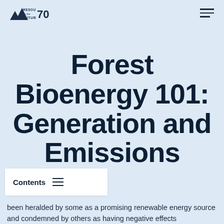Resources for the Future 70
Forest Bioenergy 101: Generation and Emissions
Contents
been heralded by some as a promising renewable energy source and condemned by others as having negative effects